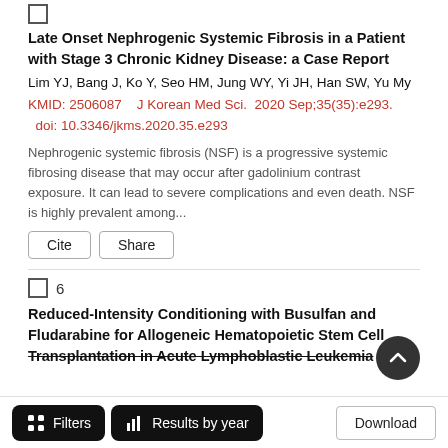Late Onset Nephrogenic Systemic Fibrosis in a Patient with Stage 3 Chronic Kidney Disease: a Case Report
Lim YJ, Bang J, Ko Y, Seo HM, Jung WY, Yi JH, Han SW, Yu My
KMID: 2506087    J Korean Med Sci.  2020 Sep;35(35):e293.   doi: 10.3346/jkms.2020.35.e293
Nephrogenic systemic fibrosis (NSF) is a progressive systemic fibrosing disease that may occur after gadolinium contrast exposure. It can lead to severe complications and even death. NSF is highly prevalent among...
Cite   Share
6
Reduced-Intensity Conditioning with Busulfan and Fludarabine for Allogeneic Hematopoietic Stem Cell Transplantation in Acute Lymphoblastic Leukemia
Filters   Results by year   Download